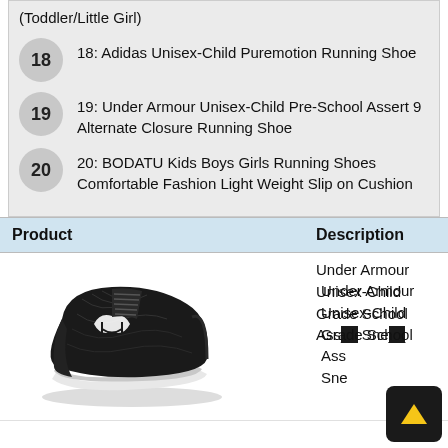(Toddler/Little Girl)
18: Adidas Unisex-Child Puremotion Running Shoe
19: Under Armour Unisex-Child Pre-School Assert 9 Alternate Closure Running Shoe
20: BODATU Kids Boys Girls Running Shoes Comfortable Fashion Light Weight Slip on Cushion
| Product | Description |
| --- | --- |
| [shoe image] | Under Armour Unisex-Child Grade School Assert Sne... |
[Figure (photo): Black Under Armour athletic running shoe with white logo]